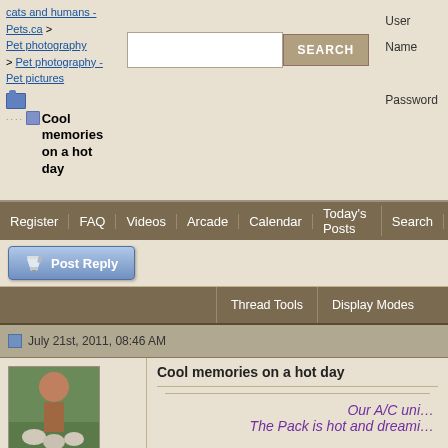cats and humans - Pets.ca > Pet photography > Pet photography - Pet pictures
Cool memories on a hot day
User Name
Password
Register | FAQ | Videos | Arcade | Calendar | Today's Posts | Search
Post Reply
Thread Tools | Display Modes
July 21st, 2011, 08:46 AM
hazelrunpack
The Pack's Head Servant
Cool memories on a hot day
Our A/C uni...
The Pack is hot and dreami...